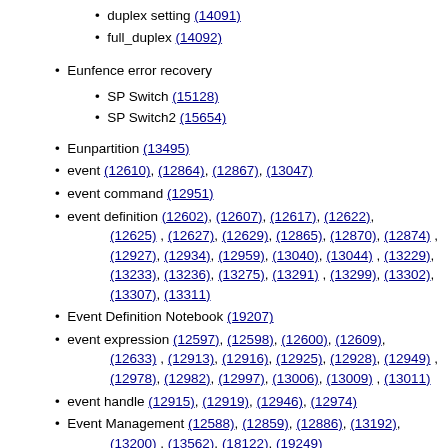duplex setting (14091)
full_duplex (14092)
Eunfence error recovery
SP Switch (15128)
SP Switch2 (15654)
Eunpartition (13495)
event (12610), (12864), (12867), (13047)
event command (12951)
event definition (12602), (12607), (12617), (12622), (12625) , (12627), (12629), (12865), (12870), (12874) , (12927), (12934), (12959), (13040), (13044) , (13229), (13233), (13236), (13275), (13291) , (13299), (13302), (13307), (13311)
Event Definition Notebook (19207)
event expression (12597), (12598), (12600), (12609), (12633) , (12913), (12916), (12925), (12928), (12949) , (12978), (12982), (12997), (13006), (13009) , (13011)
event handle (12915), (12919), (12946), (12974)
Event Management (12588), (12859), (12886), (13192), (13200) , (13562), (18122), (19249)
communication (18157)